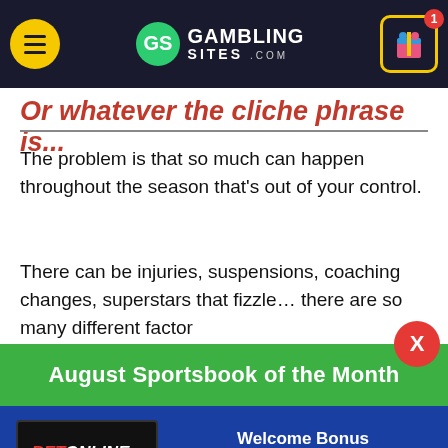GambingSites.com header with hamburger menu, logo, and gift icon
Or whatever the cliche phrase is...
The problem is that so much can happen throughout the season that's out of your control.
There can be injuries, suspensions, coaching changes, superstars that fizzle… there are so many different factor
August Sportsbook of the Month
Welcome Bonus
50% up to $1,000
VISIT SITE ▶